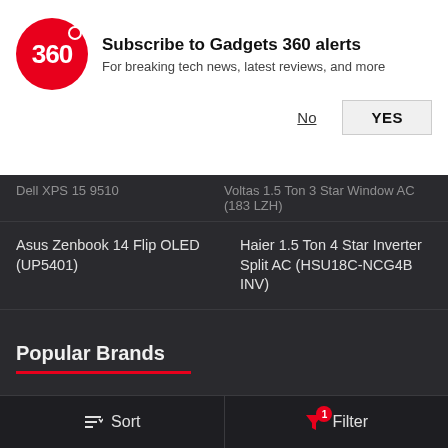[Figure (infographic): Gadgets 360 notification subscription banner with red circular logo showing '360', title 'Subscribe to Gadgets 360 alerts', subtitle 'For breaking news, latest reviews, and more', with 'No' and 'YES' buttons]
Dell XPS 15 9510 | Voltas 1.5 Ton 3 Star Window AC (183 LZH)
Asus Zenbook 14 Flip OLED (UP5401) | Haier 1.5 Ton 4 Star Inverter Split AC (HSU18C-NCG4B INV)
Popular Brands
Alcatel | iQOO | Oppo
Apple | Itel | Philips
Asus | Lava | Poco
Black Shark | Lenovo | Realme
Blu | Meizu | Samsung
Sort | Filter (1)